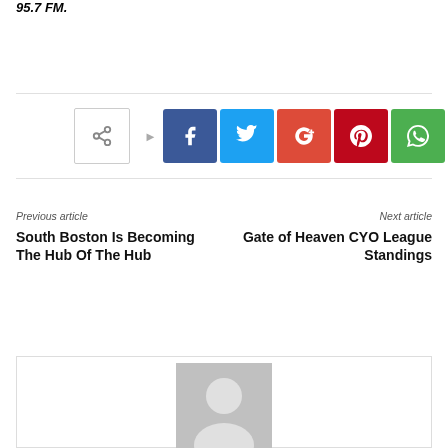95.7 FM.
[Figure (infographic): Social sharing buttons: plain share icon, Facebook, Twitter, Google+, Pinterest, WhatsApp]
Previous article
South Boston Is Becoming The Hub Of The Hub
Next article
Gate of Heaven CYO League Standings
[Figure (photo): Author avatar placeholder — grey silhouette of a person on grey background]